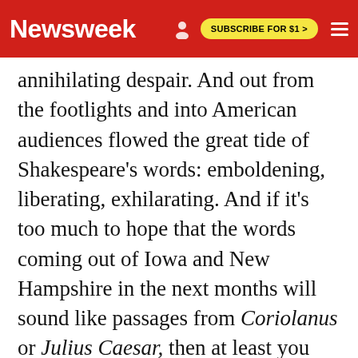Newsweek | SUBSCRIBE FOR $1 >
annihilating despair. And out from the footlights and into American audiences flowed the great tide of Shakespeare's words: emboldening, liberating, exhilarating. And if it's too much to hope that the words coming out of Iowa and New Hampshire in the next months will sound like passages from Coriolanus or Julius Caesar, then at least you know where to go for the balm of eloquence.